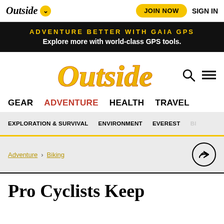Outside | JOIN NOW | SIGN IN
ADVENTURE BETTER WITH GAIA GPS — Explore more with world-class GPS tools.
[Figure (logo): Outside magazine logo in yellow/orange script font]
GEAR  ADVENTURE  HEALTH  TRAVEL
EXPLORATION & SURVIVAL  ENVIRONMENT  EVEREST  BI...
Adventure > Biking
Pro Cyclists Keep